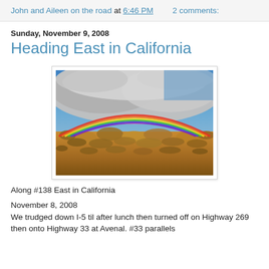John and Aileen on the road at 6:46 PM    2 comments:
Sunday, November 9, 2008
Heading East in California
[Figure (photo): A wide rainbow arching over a desert scrubland landscape with dramatic storm clouds in the background and blue sky above.]
Along #138 East in California
November 8, 2008
We trudged down I-5 til after lunch then turned off on Highway 269 then onto Highway 33 at Avenal. #33 parallels